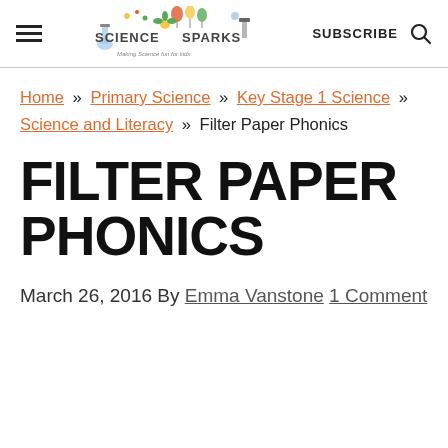Science Sparks — SUBSCRIBE [search icon]
Home » Primary Science » Key Stage 1 Science » Science and Literacy » Filter Paper Phonics
FILTER PAPER PHONICS
March 26, 2016 By Emma Vanstone 1 Comment